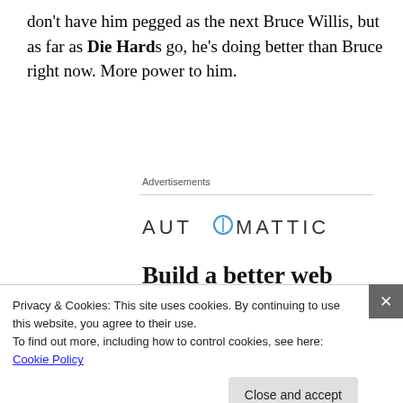don't have him pegged as the next Bruce Willis, but as far as Die Hards go, he's doing better than Bruce right now. More power to him.
Advertisements
[Figure (logo): Automattic logo with stylized compass O icon]
Build a better web and a better world.
[Figure (photo): Person smiling in circular crop]
Apply
Privacy & Cookies: This site uses cookies. By continuing to use this website, you agree to their use.
To find out more, including how to control cookies, see here: Cookie Policy
Close and accept